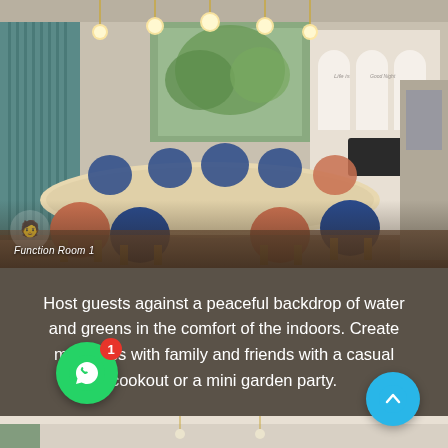[Figure (photo): Interior render of a modern function room/dining space with a long oval table, blue and terracotta chairs with gold legs, pendant globe lights, white arched niches with decorative calligraphy on the back wall, and a view of greenery outside. Label reads 'Function Room 1' in bottom left.]
Host guests against a peaceful backdrop of water and greens in the comfort of the indoors. Create memories with family and friends with a casual cookout or a mini garden party.
[Figure (photo): Partial view of another interior space, showing a ceiling with pendant lights and light-colored surfaces.]